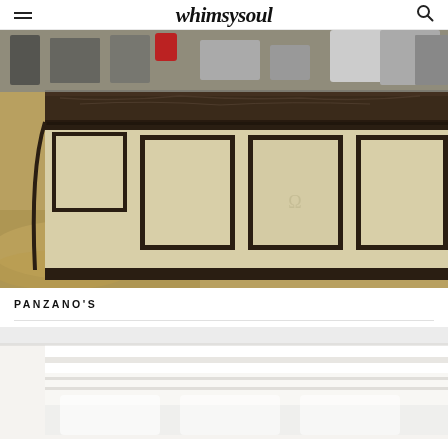whimsysoul
[Figure (photo): Interior view of a restaurant bar/counter with dark marble top, cream-colored paneled front with dark trim and framed panels, kitchen equipment visible in background, golden-toned floor]
PANZANO'S
[Figure (photo): Close-up of white restaurant interior details, white architectural molding or banquette seating, bright white tones]